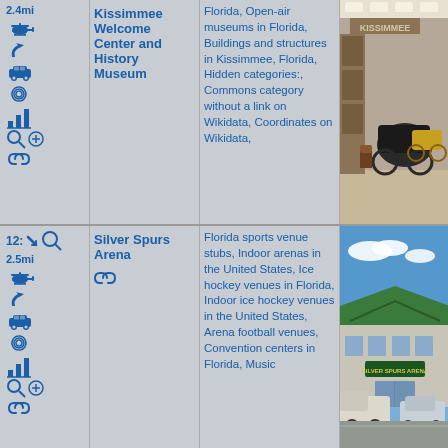| Icons/Distance | Name | Categories | Photo |
| --- | --- | --- | --- |
| 2.4mi [helicopter][turn][car][swirl][chart][search+][link] | Kissimmee Welcome Center and History Museum | Florida, Open-air museums in Florida, Buildings and structures in Kissimmee, Florida, Hidden categories:, Commons category without a link on Wikidata, Coordinates on Wikidata, | [museum interior photo] |
| 12: 2.5mi [helicopter][turn][car][swirl][chart][search+][link] | Silver Spurs Arena | Florida sports venue stubs, Indoor arenas in the United States, Ice hockey venues in Florida, Indoor ice hockey venues in the United States, Arena football venues, Convention centers in Florida, Music | [silver spurs arena exterior photo] |